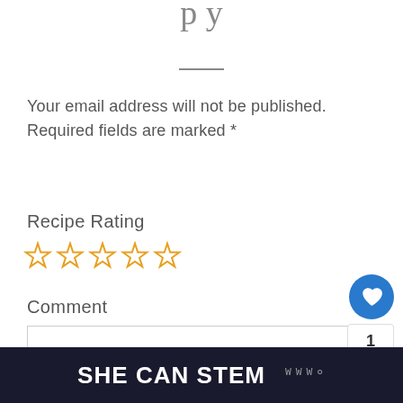Your email address will not be published. Required fields are marked *
Recipe Rating
[Figure (other): Five empty star rating icons in yellow/gold outline]
Comment
[Figure (other): Blue circular heart/like button showing count of 1 and a share button below]
[Figure (other): What's Next widget showing Red Potato Recipe with thumbnail]
SHE CAN STEM